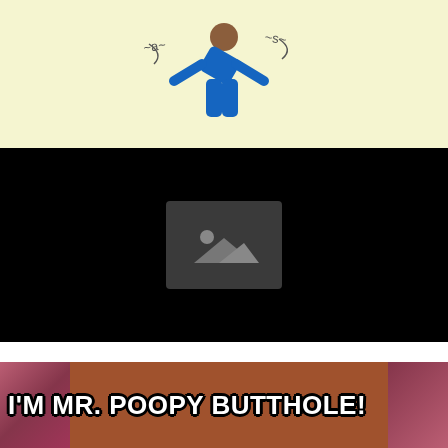[Figure (illustration): Cartoon illustration on pale yellow background showing a person bent over in blue clothing with text squiggles around them]
[Figure (photo): Black background with a broken/missing image placeholder icon in the center (gray rounded rectangle with mountain and circle shapes)]
[Figure (illustration): Scene from Rick and Morty showing Mr. Poopy Butthole with text overlay reading I'M MR. POOPY BUTTHOLE! with pink creature hands visible on sides]